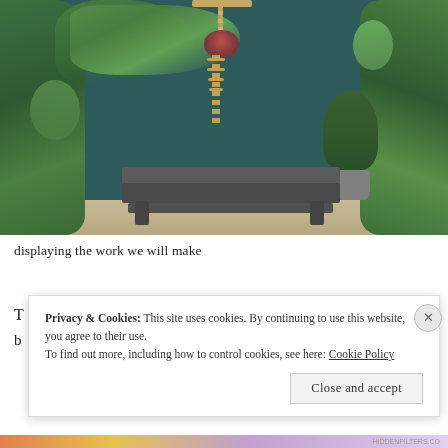[Figure (photo): Interior of a flower shop with dark teal walls, a wooden bench in the center, various potted plants and floral arrangements on left and right, and a macrame hanging decoration with flowers on the wall above the bench.]
displaying the work we will make
T
b
Privacy & Cookies: This site uses cookies. By continuing to use this website, you agree to their use.
To find out more, including how to control cookies, see here: Cookie Policy
Close and accept